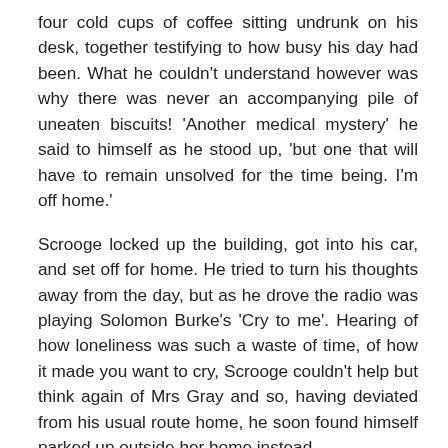four cold cups of coffee sitting undrunk on his desk, together testifying to how busy his day had been. What he couldn't understand however was why there was never an accompanying pile of uneaten biscuits! 'Another medical mystery' he said to himself as he stood up, 'but one that will have to remain unsolved for the time being. I'm off home.'
Scrooge locked up the building, got into his car, and set off for home. He tried to turn his thoughts away from the day, but as he drove the radio was playing Solomon Burke's 'Cry to me'. Hearing of how loneliness was such a waste of time, of how it made you want to cry, Scrooge couldn't help but think again of Mrs Gray and so, having deviated from his usual route home, he soon found himself parked up outside her home instead.